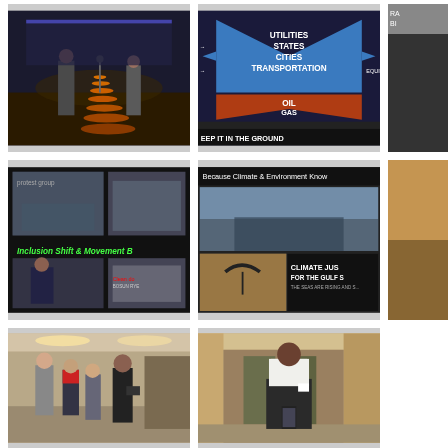[Figure (photo): Two people on a stage, one standing next to a large orange sculptural form resembling a stacked cone/tornado shape]
[Figure (infographic): Chevron/arrow diagram with blue arrow pointing up listing UTILITIES, STATES, CITIES, TRANSPORTATION and orange/red arrow pointing down listing OIL, GAS, COAL with text KEEP IT IN THE GROUND at bottom]
[Figure (photo): Partially visible image at right edge, cut off]
[Figure (photo): Collage on dark background showing protest photos and text: Inclusion Shift & Movement B...]
[Figure (photo): Collage showing protest with sign: CLIMATE JUSTICE FOR THE GULF S... THE SEAS ARE RISING AND S... and text: Because Climate & Environment Know...]
[Figure (photo): Partially visible image at right edge]
[Figure (photo): People in indoor lobby/reception area having conversation]
[Figure (photo): Man in suit standing alone in indoor lobby looking at phone]